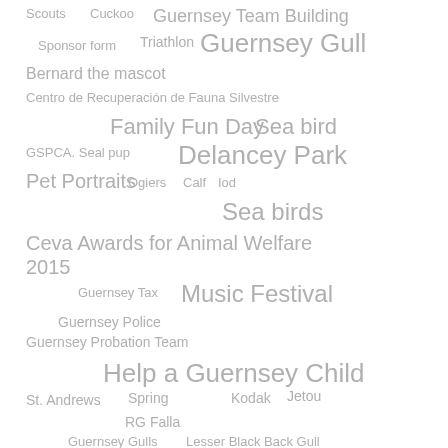[Figure (other): Tag cloud with various topics related to Guernsey animal welfare, events, and organizations. Tags include: Scouts, Cuckoo, Guernsey Team Building, Sponsor form, Triathlon, Guernsey Gull, Bernard the mascot, Centro de Recuperación de Fauna Silvestre, Family Fun Day, Sea bird, GSPCA. Seal pup, Delancey Park, Pet Portraits, Ogiers, Calf, Iod, Sea birds, Ceva Awards for Animal Welfare 2015, Guernsey Tax, Music Festival, Guernsey Police, Guernsey Probation Team, Help a Guernsey Child, St. Andrews, Spring, Kodak, Jetou, RG Falla, Guernsey Gulls, Lesser Black Back Gull]